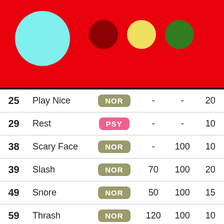[Figure (infographic): Red header area with a large cyan circle on the left and three status circles (dark red, yellow, green) on the right]
| Lvl | Move | Type | Pwr | Acc | PP |
| --- | --- | --- | --- | --- | --- |
| 25 | Play Nice | NOR | - | - | 20 |
| 29 | Rest | PSY | - | - | 10 |
| 38 | Scary Face | NOR | - | 100 | 10 |
| 39 | Slash | NOR | 70 | 100 | 20 |
| 49 | Snore | NOR | 50 | 100 | 15 |
| 59 | Thrash | NOR | 120 | 100 | 10 |
| 67 | Hammer Arm | FIG | 100 | 90 | 10 |